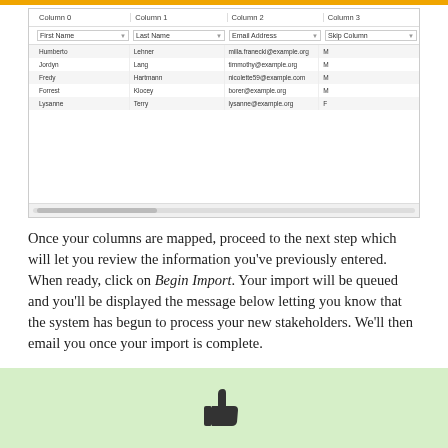[Figure (screenshot): A UI screenshot showing a column mapping interface with four columns (Column 0: First Name, Column 1: Last Name, Column 2: Email Address, Column 3: Skip Column) and five rows of sample data (Humberto Lehner, Jordyn Lang, Fredy Hartmann, Forrest Klocey, Lysanne Terry), plus a horizontal scrollbar at the bottom.]
Once your columns are mapped, proceed to the next step which will let you review the information you've previously entered. When ready, click on Begin Import. Your import will be queued and you'll be displayed the message below letting you know that the system has begun to process your new stakeholders. We'll then email you once your import is complete.
[Figure (screenshot): A green success notification box with a thumbs-up icon in the center.]